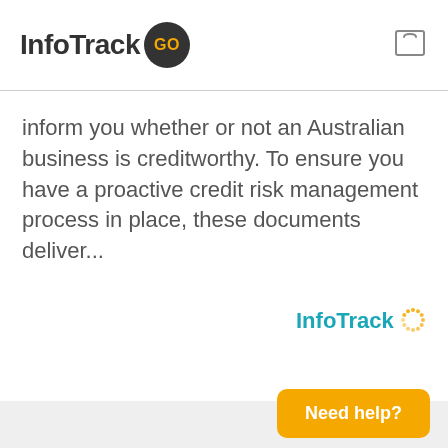[Figure (logo): InfoTrack GO logo with shopping cart icon in header]
inform you whether or not an Australian business is creditworthy. To ensure you have a proactive credit risk management process in place, these documents deliver...
[Figure (logo): InfoTrack branded logo in teal/blue with orange dotted circle]
Need help?